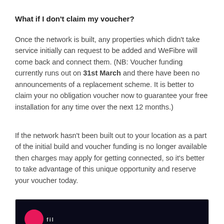What if I don't claim my voucher?
Once the network is built, any properties which didn't take service initially can request to be added and WeFibre will come back and connect them. (NB: Voucher funding currently runs out on 31st March and there have been no announcements of a replacement scheme. It is better to claim your no obligation voucher now to guarantee your free installation for any time over the next 12 months.)
If the network hasn't been built out to your location as a part of the initial build and voucher funding is no longer available then charges may apply for getting connected, so it's better to take advantage of this unique opportunity and reserve your voucher today.
[Figure (screenshot): Dark background image with pink circle and text, appears to be a WeFibre brand image or advertisement]